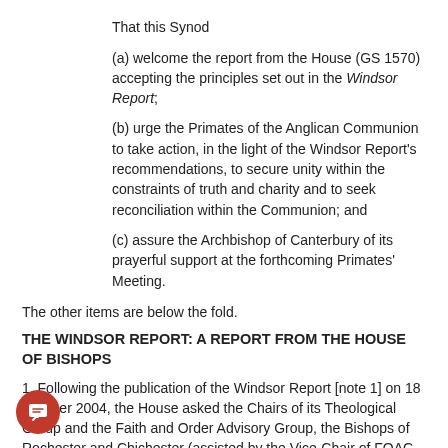That this Synod
(a) welcome the report from the House (GS 1570) accepting the principles set out in the Windsor Report;
(b) urge the Primates of the Anglican Communion to take action, in the light of the Windsor Report's recommendations, to secure unity within the constraints of truth and charity and to seek reconciliation within the Communion; and
(c) assure the Archbishop of Canterbury of its prayerful support at the forthcoming Primates' Meeting.
The other items are below the fold.
THE WINDSOR REPORT: A REPORT FROM THE HOUSE OF BISHOPS
1. Following the publication of the Windsor Report [note 1] on 18 October 2004, the House asked the Chairs of its Theological Group and the Faith and Order Advisory Group, the Bishops of Rochester and Chichester (assisted by the Vice-Chair of FOAG, the Bishop of